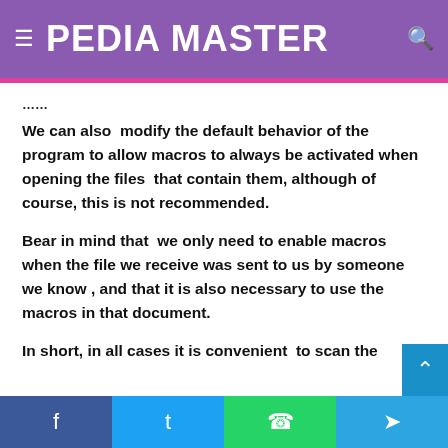PEDIA MASTER
We can also modify the default behavior of the program to allow macros to always be activated when opening the files that contain them, although of course, this is not recommended.
Bear in mind that we only need to enable macros when the file we receive was sent to us by someone we know , and that it is also necessary to use the macros in that document.
In short, in all cases it is convenient to scan the document with...